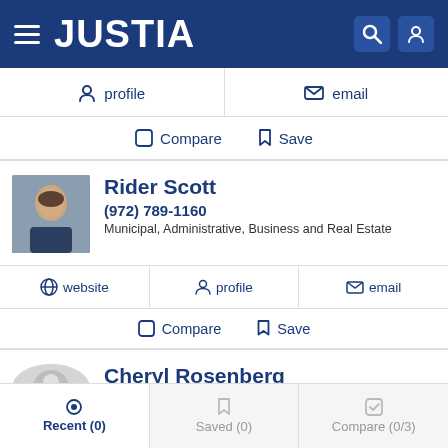JUSTIA
profile
email
Compare  Save
Rider Scott
(972) 789-1160
Municipal, Administrative, Business and Real Estate
website  profile  email
Compare  Save
Cheryl Rosenberg
Recent (0)  Saved (0)  Compare (0/3)